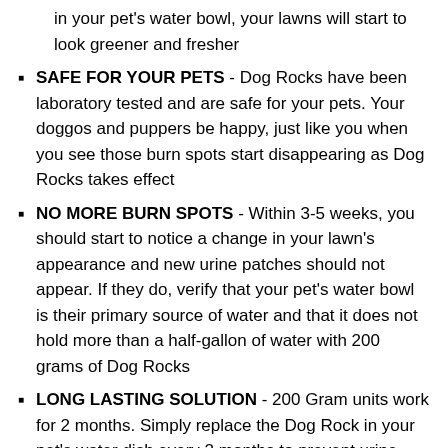in your pet's water bowl, your lawns will start to look greener and fresher
SAFE FOR YOUR PETS - Dog Rocks have been laboratory tested and are safe for your pets. Your doggos and puppers be happy, just like you when you see those burn spots start disappearing as Dog Rocks takes effect
NO MORE BURN SPOTS - Within 3-5 weeks, you should start to notice a change in your lawn's appearance and new urine patches should not appear. If they do, verify that your pet's water bowl is their primary source of water and that it does not hold more than a half-gallon of water with 200 grams of Dog Rocks
LONG LASTING SOLUTION - 200 Gram units work for 2 months. Simply replace the Dog Rock in your pet's water dish every 2 months to prevent urine patches so your lawn remains lush and green
Publisher: Dog Rocks Distribution LLC
Details:
What are Dog Rocks?